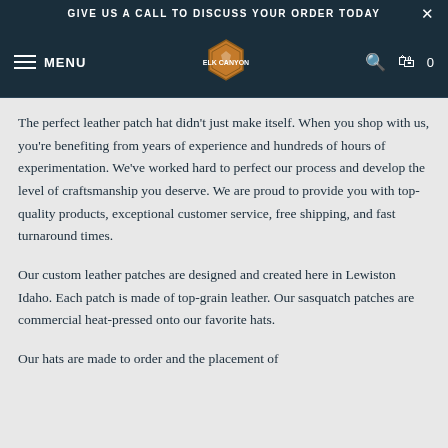GIVE US A CALL TO DISCUSS YOUR ORDER TODAY
MENU [logo] [search] [cart] 0
The perfect leather patch hat didn't just make itself. When you shop with us, you're benefiting from years of experience and hundreds of hours of experimentation. We've worked hard to perfect our process and develop the level of craftsmanship you deserve. We are proud to provide you with top-quality products, exceptional customer service, free shipping, and fast turnaround times.
Our custom leather patches are designed and created here in Lewiston Idaho. Each patch is made of top-grain leather. Our sasquatch patches are commercial heat-pressed onto our favorite hats.
Our hats are made to order and the placement of